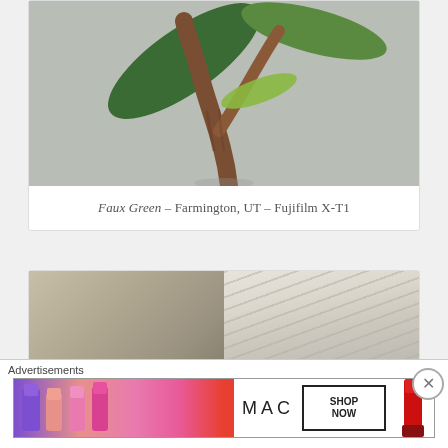[Figure (photo): Close-up photo of a faux tropical plant with large dark green leaves and a brown textured stem, against a grey background]
Faux Green – Farmington, UT – Fujifilm X-T1
[Figure (photo): Two-panel photo: left shows a beige/tan curved surface, right shows white window blinds with diagonal light and shadow]
Advertisements
[Figure (photo): MAC cosmetics advertisement banner showing lipsticks in purple, pink, coral colors on left, MAC logo in center, SHOP NOW button, and red lipstick on right]